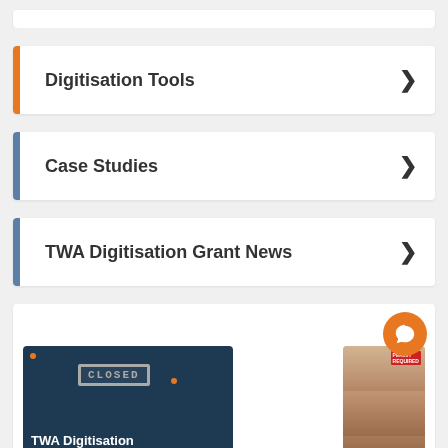Digitisation Tools
Case Studies
TWA Digitisation Grant News
[Figure (screenshot): Promotional image showing a 'CLOSED' stamp over a dark background with text 'TWA Digitisation' and a street scene image on the right, plus an orange chat bubble icon in the bottom right corner.]